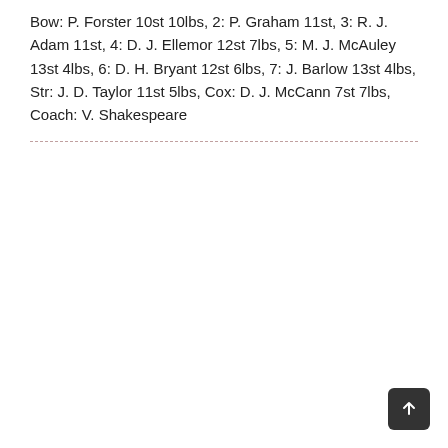Bow: P. Forster 10st 10lbs, 2: P. Graham 11st, 3: R. J. Adam 11st, 4: D. J. Ellemor 12st 7lbs, 5: M. J. McAuley 13st 4lbs, 6: D. H. Bryant 12st 6lbs, 7: J. Barlow 13st 4lbs, Str: J. D. Taylor 11st 5lbs, Cox: D. J. McCann 7st 7lbs, Coach: V. Shakespeare